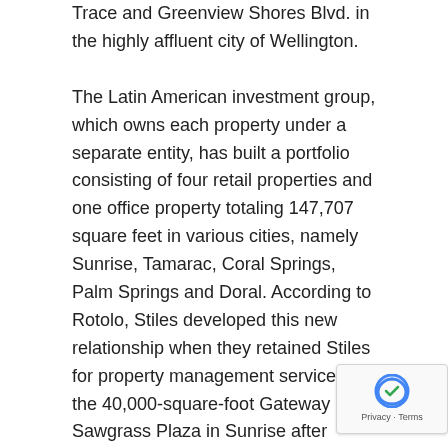Trace and Greenview Shores Blvd. in the highly affluent city of Wellington.
The Latin American investment group, which owns each property under a separate entity, has built a portfolio consisting of four retail properties and one office property totaling 147,707 square feet in various cities, namely Sunrise, Tamarac, Coral Springs, Palm Springs and Doral. According to Rotolo, Stiles developed this new relationship when they retained Stiles for property management services on the 40,000-square-foot Gateway at Sawgrass Plaza in Sunrise after purchasing the property in early 2014. They have since recognized Stiles as the ideal partner for property management services for their growing portfolio.
"This particular client continues to grow their Florida